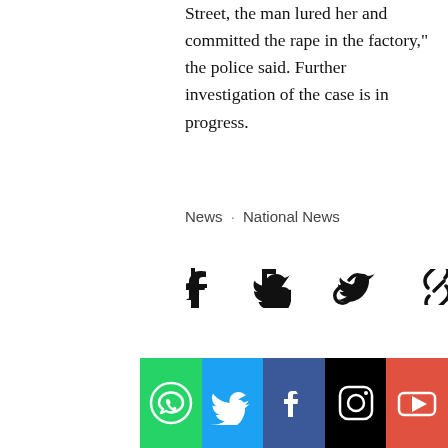Street, the man lured her and committed the rape in the factory," the police said. Further investigation of the case is in progress.
News · National News
[Figure (infographic): Social share icons: Facebook, Twitter, and link/chain icon]
[Figure (infographic): Three dot pagination indicator: light grey dot, medium grey dot, dark grey/black dot]
[Figure (infographic): Bottom social media bar with icons: WhatsApp (green), Twitter (blue), Facebook (dark blue), Instagram (black), YouTube (red)]